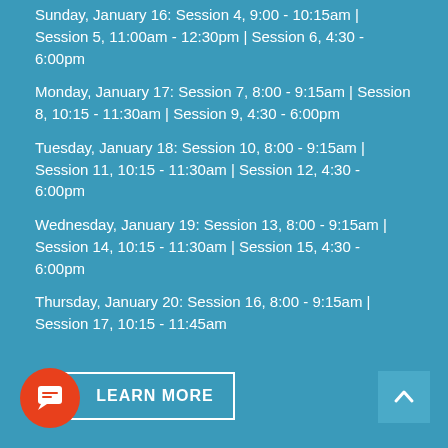Sunday, January 16: Session 4, 9:00 - 10:15am | Session 5, 11:00am - 12:30pm | Session 6, 4:30 - 6:00pm
Monday, January 17: Session 7, 8:00 - 9:15am | Session 8, 10:15 - 11:30am | Session 9, 4:30 - 6:00pm
Tuesday, January 18: Session 10, 8:00 - 9:15am | Session 11, 10:15 - 11:30am | Session 12, 4:30 - 6:00pm
Wednesday, January 19: Session 13, 8:00 - 9:15am | Session 14, 10:15 - 11:30am | Session 15, 4:30 - 6:00pm
Thursday, January 20: Session 16, 8:00 - 9:15am | Session 17, 10:15 - 11:45am
[Figure (other): LEARN MORE button with chat icon overlay and scroll-to-top arrow button]